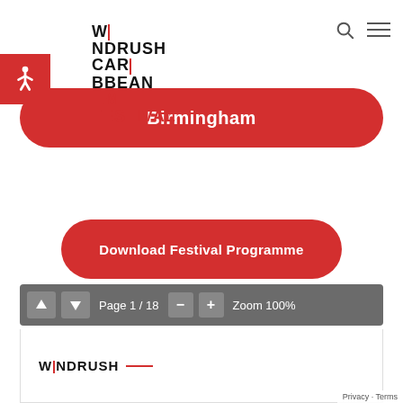[Figure (logo): Windrush Caribbean Film Festival logo with black and red text]
[Figure (infographic): Red accessibility icon (wheelchair symbol) on red background]
Birmingham
Download Festival Programme
[Figure (screenshot): PDF viewer toolbar showing Page 1 / 18 and Zoom 100% controls]
Privacy · Terms